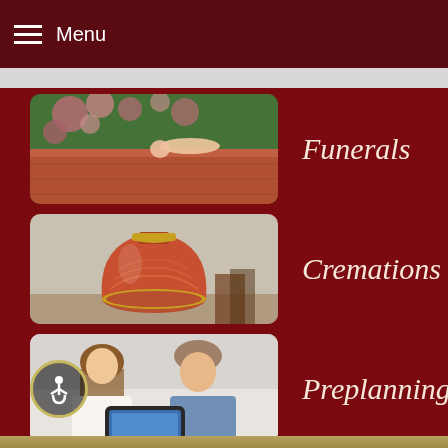Menu
Funerals
Cremations
Preplanning